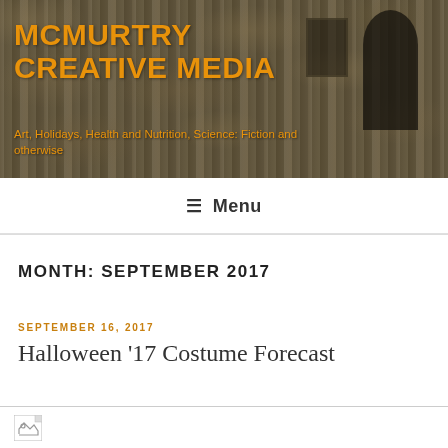[Figure (photo): Header banner with stone wall background, arched door, and rectangular window. Blog site header image.]
MCMURTRY CREATIVE MEDIA
Art, Holidays, Health and Nutrition, Science: Fiction and otherwise
≡ Menu
MONTH: SEPTEMBER 2017
SEPTEMBER 16, 2017
Halloween '17 Costume Forecast
[Figure (photo): Broken image placeholder icon at bottom of page]